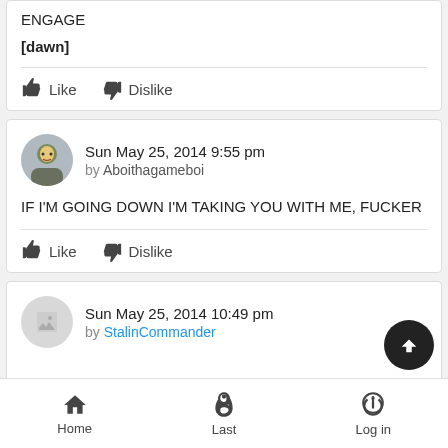ENGAGE
[dawn]
Like   Dislike
Sun May 25, 2014 9:55 pm
by Aboithagameboi
IF I'M GOING DOWN I'M TAKING YOU WITH ME, FUCKER
Like   Dislike
Sun May 25, 2014 10:49 pm
by StalinCommander
Home   Last   Log in